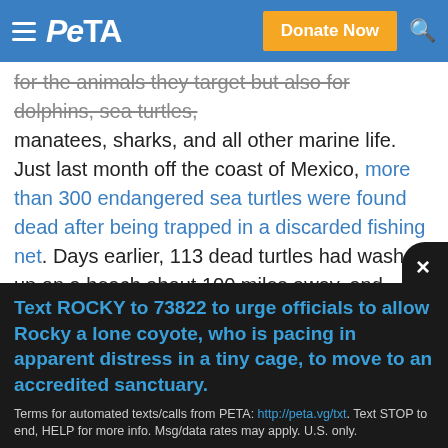PETA — Donate Now
for the animals they target but also for dolphins, sea turtles, manatees, sharks, and all other marine life. Just last month off the coast of Mexico, more than 300 endangered sea turtles were found dead after being trapped in a discarded fishing net. Days earlier, 113 dead turtles had washed up on a beach about 100 miles away, and many of them bore injuries consistent with fishing hooks and nets. Fortunately, PETA was able to rescue this dolphin, but we can't get to them all. If people would decide to be kind to sea animals, this threat would disappear.

In a PETA investigation of a crustacean slaughterhouse
Text ROCKY to 73822 to urge officials to allow Rocky a lone coyote, who is pacing in apparent distress in a tiny cage, to move to an accredited sanctuary.
Terms for automated texts/calls from PETA: http://peta.vg/txt. Text STOP to end, HELP for more info. Msg/data rates may apply. U.S. only.